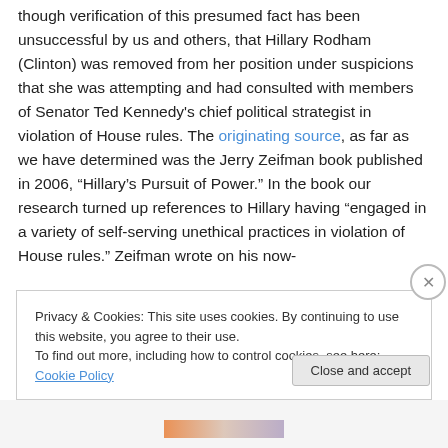though verification of this presumed fact has been unsuccessful by us and others, that Hillary Rodham (Clinton) was removed from her position under suspicions that she was attempting and had consulted with members of Senator Ted Kennedy's chief political strategist in violation of House rules. The originating source, as far as we have determined was the Jerry Zeifman book published in 2006, “Hillary’s Pursuit of Power.” In the book our research turned up references to Hillary having “engaged in a variety of self-serving unethical practices in violation of House rules.” Zeifman wrote on his now-
Privacy & Cookies: This site uses cookies. By continuing to use this website, you agree to their use.
To find out more, including how to control cookies, see here: Cookie Policy